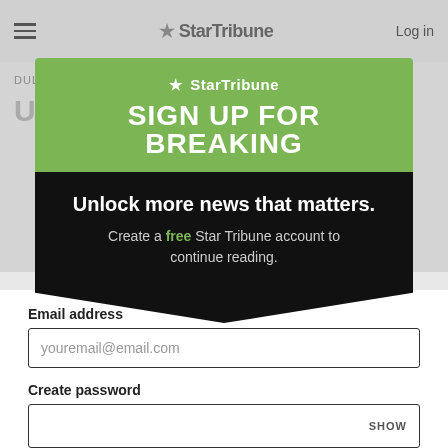☰  ★ StarTribune  Log in
[Figure (screenshot): Blurred background showing StarTribune article page with 'DULUTH' section label and 'USS M' headline beginning]
★ StarTribune
SIGN UP FOR BREAKING
Unlock more news that matters.
Create a free Star Tribune account to continue reading.
Email address
youremail@email.com
Create password
SHOW
Create an account
By continuing you agree to the Terms of Service and